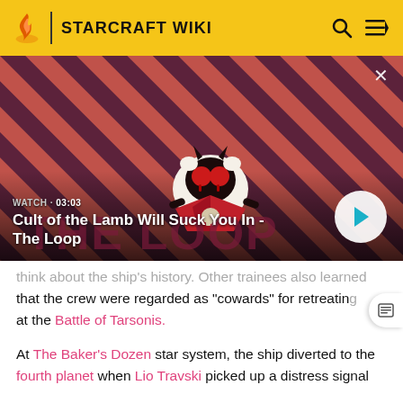STARCRAFT WIKI
[Figure (screenshot): Video thumbnail for 'Cult of the Lamb Will Suck You In - The Loop' showing a cartoon lamb character with red eyes against a striped red and dark purple diagonal background. Duration shown is 03:03. A play button is visible on the right.]
think about the ship's history. Other trainees also learned that the crew were regarded as "cowards" for retreating at the Battle of Tarsonis.
At The Baker's Dozen star system, the ship diverted to the fourth planet when Lio Travski picked up a distress signal